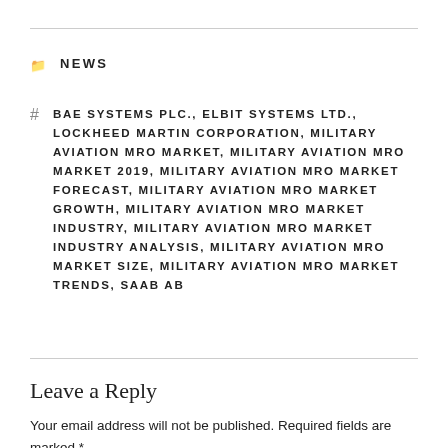NEWS
BAE SYSTEMS PLC., ELBIT SYSTEMS LTD., LOCKHEED MARTIN CORPORATION, MILITARY AVIATION MRO MARKET, MILITARY AVIATION MRO MARKET 2019, MILITARY AVIATION MRO MARKET FORECAST, MILITARY AVIATION MRO MARKET GROWTH, MILITARY AVIATION MRO MARKET INDUSTRY, MILITARY AVIATION MRO MARKET INDUSTRY ANALYSIS, MILITARY AVIATION MRO MARKET SIZE, MILITARY AVIATION MRO MARKET TRENDS, SAAB AB
Leave a Reply
Your email address will not be published. Required fields are marked *